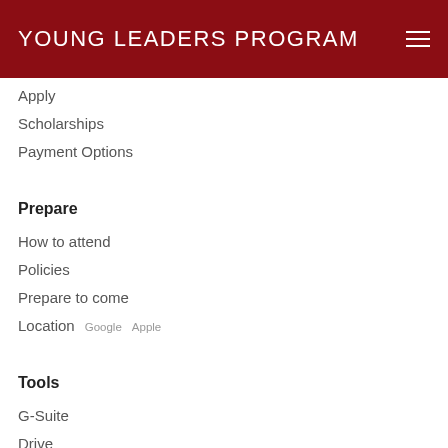YOUNG LEADERS PROGRAM
Apply
Scholarships
Payment Options
Prepare
How to attend
Policies
Prepare to come
Location  Google  Apple
Tools
G-Suite
Drive
Calendar
Current Staff